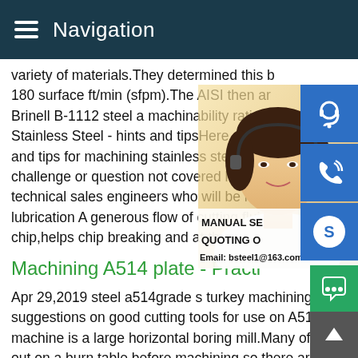Navigation
variety of materials.They determined this b 180 surface ft/min (sfpm).The AISI then ar Brinell B-1112 steel a machinability rating Stainless Steel - hints and tipsHere are a s and tips for machining stainless steel.If yo challenge or question not covered here,ple technical sales engineers who will be happ lubrication A generous flow of cutting fluid chip,helps chip breaking and at the same t
[Figure (photo): Woman wearing headset, customer service representative photo with overlaid contact icons (headset, phone, Skype) and text: MANUAL SE, QUOTING O, Email: bsteel1@163.com]
Machining A514 plate - Practi
Apr 29,2019 steel a514grade s turkey machining#0183;Looking for suggestions on good cutting tools for use on A514 steel? The machine is a large horizontal boring mill.Many of the parts are out on a burn table before machining so there are hard areas a the edges.We have used some carbide but have had issues w